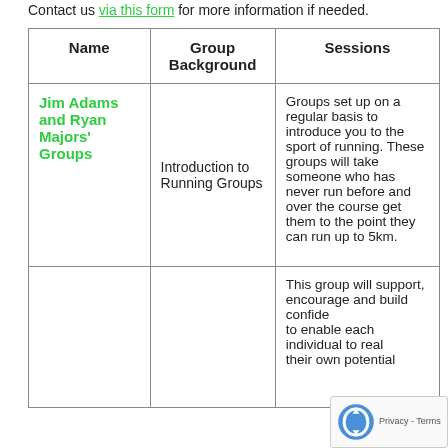Contact us via this form for more information if needed.
| Name | Group Background | Sessions |
| --- | --- | --- |
| Jim Adams and Ryan Majors' Groups | Introduction to Running Groups | Groups set up on a regular basis to introduce you to the sport of running. These groups will take someone who has never run before and over the course get them to the point they can run up to 5km. |
|  |  | This group will support, encourage and build confidence to enable each individual to realise their own potential |